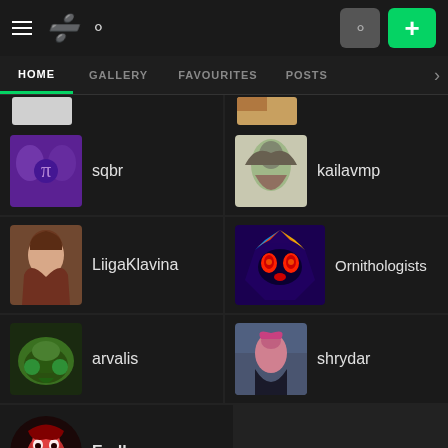DeviantArt navigation bar with hamburger menu, logo, search, profile and plus buttons
HOME
GALLERY
FAVOURITES
POSTS
sqbr
kailavmp
LiigaKlavina
Ornithologists
arvalis
shrydar
Endlen